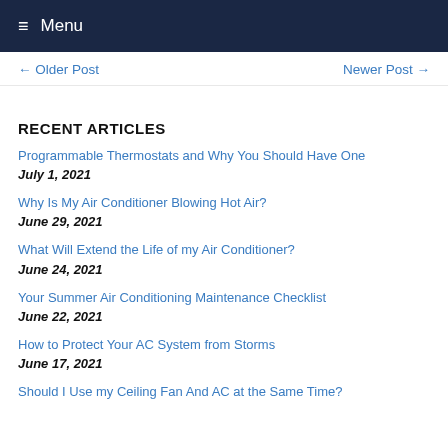Menu
← Older Post    Newer Post →
RECENT ARTICLES
Programmable Thermostats and Why You Should Have One
July 1, 2021
Why Is My Air Conditioner Blowing Hot Air?
June 29, 2021
What Will Extend the Life of my Air Conditioner?
June 24, 2021
Your Summer Air Conditioning Maintenance Checklist
June 22, 2021
How to Protect Your AC System from Storms
June 17, 2021
Should I Use my Ceiling Fan And AC at the Same Time?